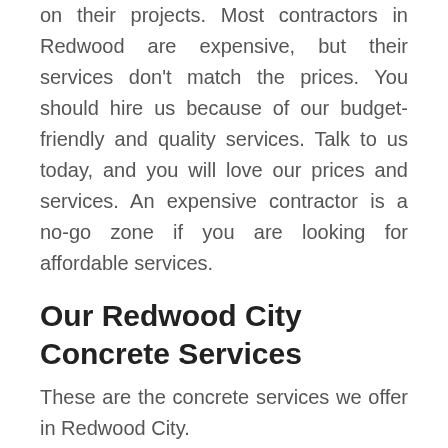on their projects. Most contractors in Redwood are expensive, but their services don't match the prices. You should hire us because of our budget-friendly and quality services. Talk to us today, and you will love our prices and services. An expensive contractor is a no-go zone if you are looking for affordable services.
Our Redwood City Concrete Services
These are the concrete services we offer in Redwood City.
Stamped Concrete
This is one of the best options when it